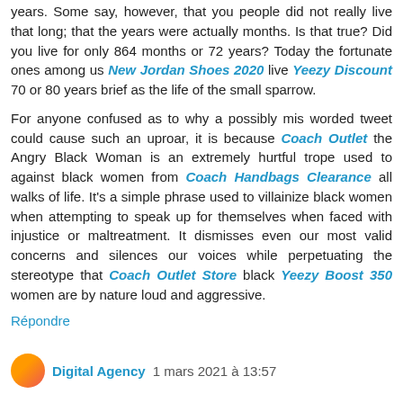years. Some say, however, that you people did not really live that long; that the years were actually months. Is that true? Did you live for only 864 months or 72 years? Today the fortunate ones among us New Jordan Shoes 2020 live Yeezy Discount 70 or 80 years brief as the life of the small sparrow.
For anyone confused as to why a possibly mis worded tweet could cause such an uproar, it is because Coach Outlet the Angry Black Woman is an extremely hurtful trope used to against black women from Coach Handbags Clearance all walks of life. It's a simple phrase used to villainize black women when attempting to speak up for themselves when faced with injustice or maltreatment. It dismisses even our most valid concerns and silences our voices while perpetuating the stereotype that Coach Outlet Store black Yeezy Boost 350 women are by nature loud and aggressive.
Répondre
Digital Agency  1 mars 2021 à 13:57